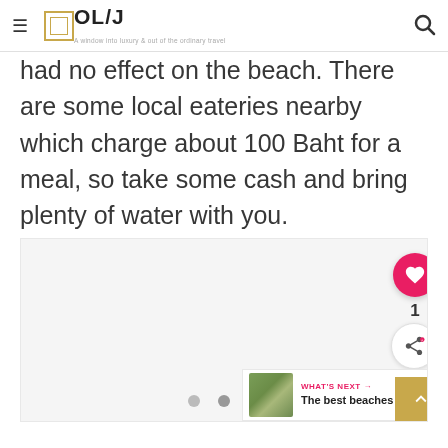OL/J — A window into luxury & out of the ordinary travel
had no effect on the beach. There are some local eateries nearby which charge about 100 Baht for a meal, so take some cash and bring plenty of water with you.
[Figure (photo): Image placeholder with dot pagination indicators below]
WHAT'S NEXT → The best beaches in...